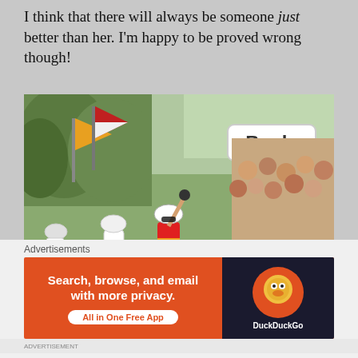I think that there will always be someone just better than her. I'm happy to be proved wrong though!
[Figure (photo): A cyclist raising their fist in victory at a race finish line, with a Boels sponsor sign visible, crowd watching on the right, other cyclists behind, flags on the left, and orange barriers along the road.]
Van Dijk could win for Sunweb but I think she might
Advertisements
[Figure (other): DuckDuckGo advertisement banner: 'Search, browse, and email with more privacy. All in One Free App' with DuckDuckGo logo on dark background.]